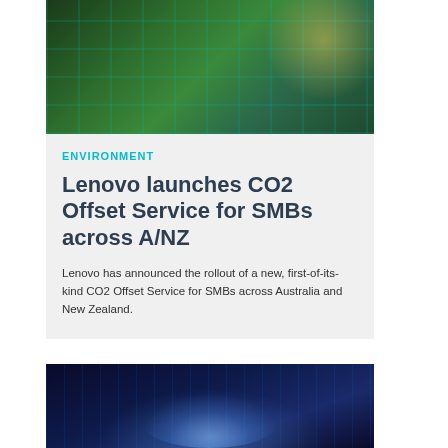[Figure (photo): Green glass office building facade with trees reflected, lit with warm sunlight from above]
ENVIRONMENT
Lenovo launches CO2 Offset Service for SMBs across A/NZ
Lenovo has announced the rollout of a new, first-of-its-kind CO2 Offset Service for SMBs across Australia and New Zealand.
[Figure (photo): Dark blue digital technology background with glowing hands touching a surface, data streams visible]